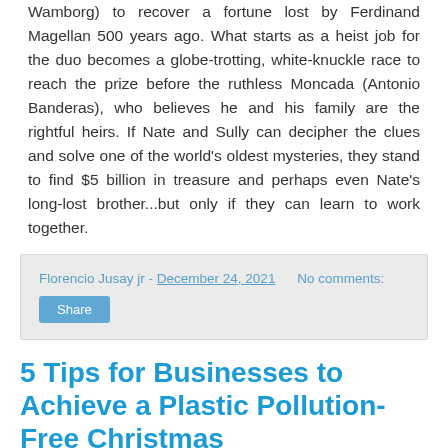Wamborg) to recover a fortune lost by Ferdinand Magellan 500 years ago. What starts as a heist job for the duo becomes a globe-trotting, white-knuckle race to reach the prize before the ruthless Moncada (Antonio Banderas), who believes he and his family are the rightful heirs. If Nate and Sully can decipher the clues and solve one of the world's oldest mysteries, they stand to find $5 billion in treasure and perhaps even Nate's long-lost brother...but only if they can learn to work together.
Florencio Jusay jr - December 24, 2021   No comments:
Share
5 Tips for Businesses to Achieve a Plastic Pollution-Free Christmas
[Figure (illustration): Infographic image showing '5 Tips for Businesses to Achieve a Plastic Pollution-Free Christmas' with festive Christmas decorations including holly and the large number 5 in red.]